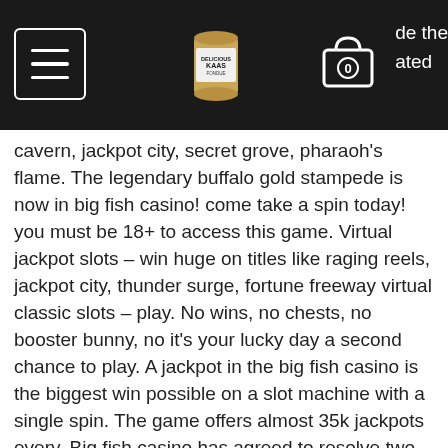navigation header with menu icon, logo (can image), cart icon, and partial text 'de the ated'
cavern, jackpot city, secret grove, pharaoh's flame. The legendary buffalo gold stampede is now in big fish casino! come take a spin today! you must be 18+ to access this game. Virtual jackpot slots – win huge on titles like raging reels, jackpot city, thunder surge, fortune freeway virtual classic slots – play. No wins, no chests, no booster bunny, no it's your lucky day a second chance to play. A jackpot in the big fish casino is the biggest win possible on a slot machine with a single spin. The game offers almost 35k jackpots every. Big fish casino has agreed to resolve two illegal gambling class action lawsuits against them with a $155 million settlement deal. Gametwist is the ideal online casino for people who like to get straight to the point when it comes to gaming fun. From simple slots with three reels to. Play social casino